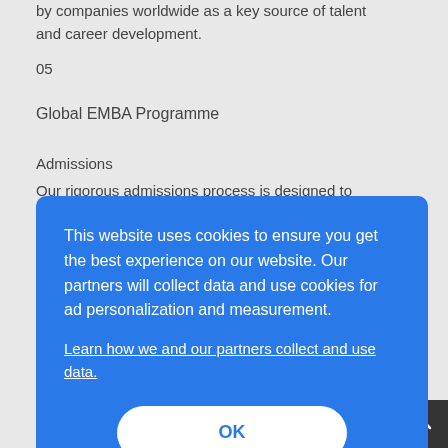by companies worldwide as a key source of talent and career development.
05
Global EMBA Programme
Admissions
Our rigorous admissions process is designed to ensure the best possible fit between you and the
[Figure (screenshot): Cookie consent overlay dialog with blue background. Text reads: 'This website uses cookies to ensure you get the best experience on our website. Our partners will collect data and use cookies for ad personalization and measurement.' followed by a link 'Learn how we and our partners collect and use data.' and an OK button.]
Admissions Test. The INSEAD EMBA Admissions